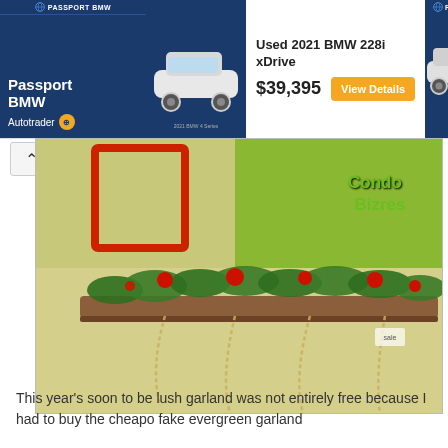[Figure (screenshot): Advertisement banner for Passport BMW on Autotrader showing a Used 2021 BMW 228i xDrive for $39,395 with a View Details button and car images]
[Figure (photo): Photo of a wooden shelf decorated with Christmas garland (evergreen branches, red flowers/ornaments, and hanging bead chains) mounted on a yellow-green wall]
This year's soon to be lush garland was not entirely free because I had to buy the cheapo fake evergreen garland